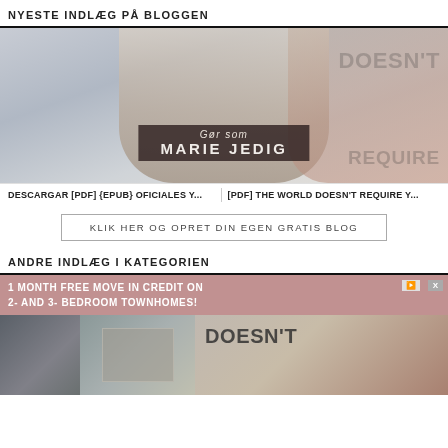NYESTE INDLÆG PÅ BLOGGEN
[Figure (photo): Collage of two overlapping images: a blonde woman in a knit sweater and a sign with text 'DOESN'T REQUIRE'. Overlaid dark panel with italic 'Gør som' and bold 'MARIE JEDIG' text.]
DESCARGAR [PDF] {EPUB} OFICIALES Y...    [PDF] THE WORLD DOESN'T REQUIRE Y...
KLIK HER OG OPRET DIN EGEN GRATIS BLOG
ANDRE INDLÆG I KATEGORIEN
[Figure (infographic): Advertisement banner: '1 MONTH FREE MOVE IN CREDIT ON 2- AND 3- BEDROOM TOWNHOMES!']
[Figure (photo): Bottom row of thumbnails showing a soldier, scenic buildings, and a person with text 'DOESN'T' overlay.]